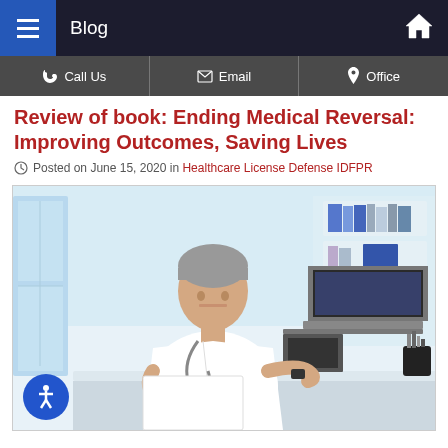Blog
Call Us | Email | Office
Review of book: Ending Medical Reversal: Improving Outcomes, Saving Lives
Posted on June 15, 2020 in Healthcare License Defense IDFPR
[Figure (photo): A middle-aged male doctor in a white coat with a stethoscope, sitting at a desk, writing notes and working on a laptop in a bright medical office with bookshelves in the background.]